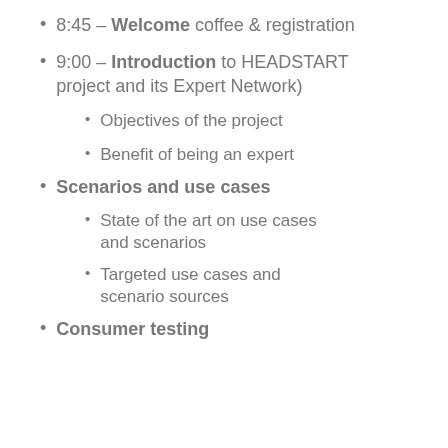8:45 – Welcome coffee & registration
9:00 – Introduction to HEADSTART project and its Expert Network)
Objectives of the project
Benefit of being an expert
Scenarios and use cases
State of the art on use cases and scenarios
Targeted use cases and scenario sources
Consumer testing